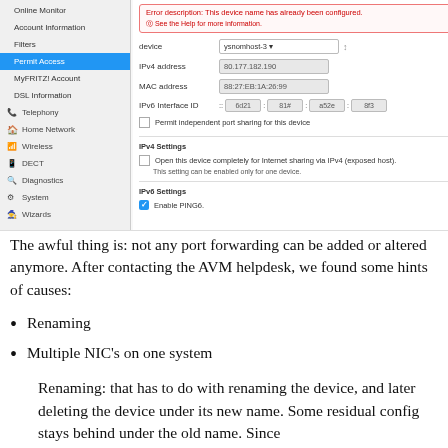[Figure (screenshot): Screenshot of a router admin UI (FRITZ!Box) showing a 'Permit Access' settings panel with device configuration fields including device selector 'ysnomhost-3', IPv4 address, MAC address, IPv6 interface ID, port sharing checkbox, IPv4 Settings section with exposed host option, and IPv6 Settings section with Enable PING6 checkbox. A sidebar on the left shows navigation items including Online Monitor, Account Information, Filters, Permit Access (highlighted in blue), MyFRITZ! Account, DSL Information, Telephony, Home Network, Wireless, DECT, Diagnostics, System, Wizards.]
The awful thing is: not any port forwarding can be added or altered anymore. After contacting the AVM helpdesk, we found some hints of causes:
Renaming
Multiple NIC’s on one system
Renaming: that has to do with renaming the device, and later deleting the device under its new name. Some residual config stays behind under the old name. Since